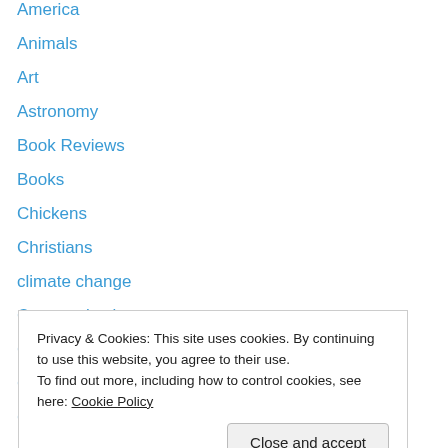America
Animals
Art
Astronomy
Book Reviews
Books
Chickens
Christians
climate change
Communication
Country Life
Creative Writing
Cuisine
Current Issues
Free
Privacy & Cookies: This site uses cookies. By continuing to use this website, you agree to their use.
To find out more, including how to control cookies, see here: Cookie Policy
Close and accept